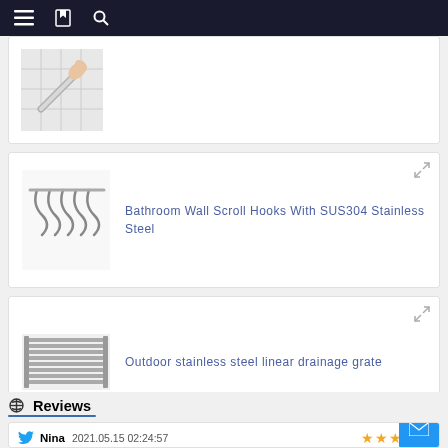Navigation bar with menu, bookmarks, and search icons
[Figure (photo): Hand holding a bathroom grab bar against a white tiled wall]
[Figure (photo): Bathroom Wall Scroll Hooks product image showing multiple scroll-style hooks]
Bathroom Wall Scroll Hooks With SUS304 Stainless Steel
[Figure (photo): Outdoor stainless steel linear drainage grate product image]
Outdoor stainless steel linear drainage grate
Reviews
Nina 2021.05.15 02:24:57
The supplier abide the theory of "quality the basic, trust the fir management the advanced" so that they can ensure a reliable